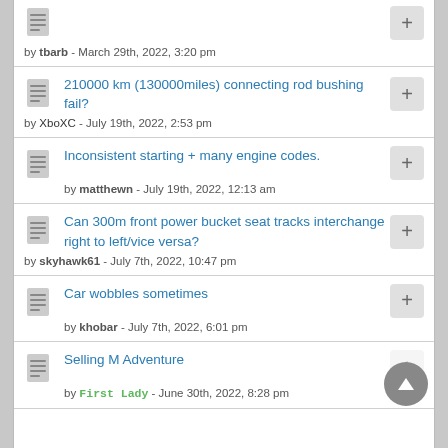by tbarb - March 29th, 2022, 3:20 pm
210000 km (130000miles) connecting rod bushing fail? by XboXC - July 19th, 2022, 2:53 pm
Inconsistent starting + many engine codes. by matthewn - July 19th, 2022, 12:13 am
Can 300m front power bucket seat tracks interchange right to left/vice versa? by skyhawk61 - July 7th, 2022, 10:47 pm
Car wobbles sometimes by khobar - July 7th, 2022, 6:01 pm
Selling M Adventure by First Lady - June 30th, 2022, 8:28 pm